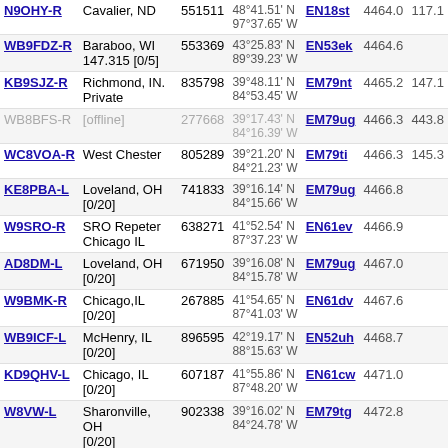| Callsign | Location | ID | Coordinates | Grid | Miles |  |
| --- | --- | --- | --- | --- | --- | --- |
| N9OHY-R | Cavalier, ND | 551511 | 48°41.51' N 97°37.65' W | EN18st | 4464.0 | 117.1 |
| WB9FDZ-R | Baraboo, WI 147.315 [0/5] | 553369 | 43°25.83' N 89°39.23' W | EN53ek | 4464.6 |  |
| KB9SJZ-R | Richmond, IN. Private | 835798 | 39°48.11' N 84°53.45' W | EM79nt | 4465.2 | 147.1 |
| WB8BFS-R | [offline] | 277668 | 39°17.43' N 84°16.39' W | EM79ug | 4466.3 | 443.8 |
| WC8VOA-R | West Chester | 805289 | 39°21.20' N 84°21.23' W | EM79ti | 4466.3 | 145.3 |
| KE8PBA-L | Loveland, OH [0/20] | 741833 | 39°16.14' N 84°15.66' W | EM79ug | 4466.8 |  |
| W9SRO-R | SRO Repeter Chicago IL | 638271 | 41°52.54' N 87°37.23' W | EN61ev | 4466.9 |  |
| AD8DM-L | Loveland, OH [0/20] | 671950 | 39°16.08' N 84°15.78' W | EM79ug | 4467.0 |  |
| W9BMK-R | Chicago,IL [0/20] | 267885 | 41°54.65' N 87°41.03' W | EN61dv | 4467.6 |  |
| WB9ICF-L | McHenry, IL [0/20] | 896595 | 42°19.17' N 88°15.63' W | EN52uh | 4468.7 |  |
| KD9QHV-L | Chicago, IL [0/20] | 607187 | 41°55.86' N 87°48.20' W | EN61cw | 4471.0 |  |
| W8VW-L | Sharonville, OH [0/20] | 902338 | 39°16.02' N 84°24.78' W | EM79tg | 4472.8 |  |
| N9RES-L | Woodstock, IL [0/20] | 564834 | 42°19.97' N 88°23.99' W | EN52th | 4473.1 | 446.0 |
| K8JTK-R | All ur base are | 233196 | 41°59.73' N | EN61ax | 4473.6 |  |